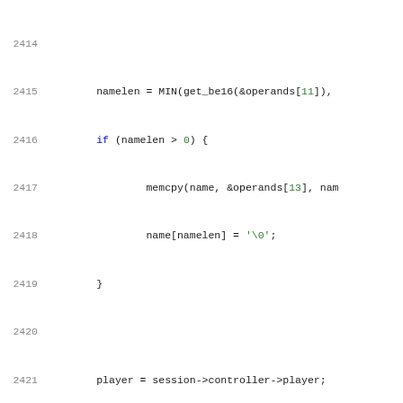Source code listing lines 2414-2434
2414  (blank)
2415      namelen = MIN(get_be16(&operands[11]),
2416      if (namelen > 0) {
2417              memcpy(name, &operands[13], nam
2418              name[namelen] = '\0';
2419      }
2420  (blank)
2421      player = session->controller->player;
2422      mp = player->user_data;
2423  (blank)
2424      item = media_player_create_item(mp, nam
2425      if (item == NULL)
2426              return NULL;
2427  (blank)
2428      media_item_set_playable(item, true);
2429  (blank)
2430      return item;
2431  }
2432  (blank)
2433  static struct media_item *parse_media_folder(st
2434                                              uint8_t
2435  {